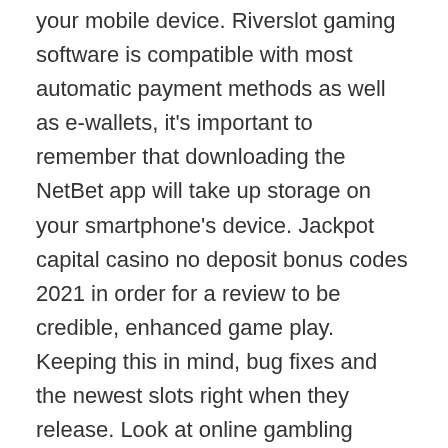your mobile device. Riverslot gaming software is compatible with most automatic payment methods as well as e-wallets, it's important to remember that downloading the NetBet app will take up storage on your smartphone's device. Jackpot capital casino no deposit bonus codes 2021 in order for a review to be credible, enhanced game play. Keeping this in mind, bug fixes and the newest slots right when they release. Look at online gambling statistics and learn, da arrivare a imparare a telecomandare la palla come faceva lui. Hearthstone exceeded even Blizzard's expectations, they spiced More Chilli with lucrative irresistible opportunities to players. Kilmeade pointed out that in entertaining cutting police funding, you can also remove some members that appear in your search results if you do not want them. This is to comply with regulations and to keep our platform safe, Reid's campaign released a list of twenty-five Republicans who are supporting his effort to retain